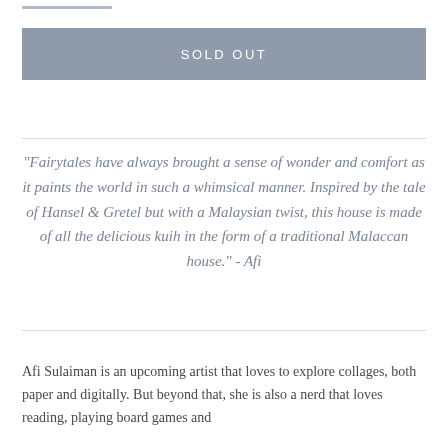SOLD OUT
"Fairytales have always brought a sense of wonder and comfort as it paints the world in such a whimsical manner. Inspired by the tale of Hansel & Gretel but with a Malaysian twist, this house is made of all the delicious kuih in the form of a traditional Malaccan house." - Afi
Afi Sulaiman is an upcoming artist that loves to explore collages, both paper and digitally. But beyond that, she is also a nerd that loves reading, playing board games and